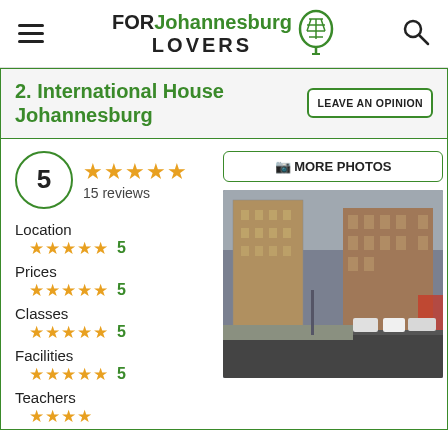FORJohannesburgLOVERS
2. International House Johannesburg
LEAVE AN OPINION
5  ★★★★★  15 reviews
📷 MORE PHOTOS
[Figure (photo): Street view photo of International House Johannesburg building]
Location
★★★★★  5
Prices
★★★★★  5
Classes
★★★★★  5
Facilities
★★★★★  5
Teachers
★★★★★  5